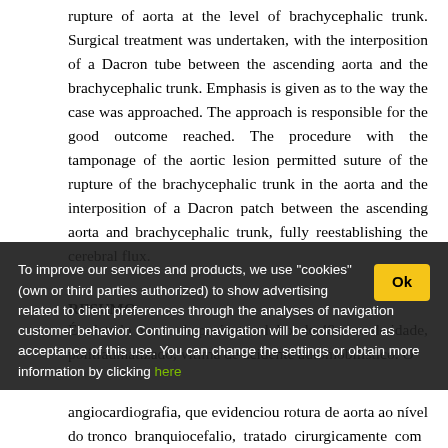rupture of aorta at the level of brachycephalic trunk. Surgical treatment was undertaken, with the interposition of a Dacron tube between the ascending aorta and the brachycephalic trunk. Emphasis is given as to the way the case was approached. The approach is responsible for the good outcome reached. The procedure with the tamponage of the aortic lesion permitted suture of the rupture of the brachycephalic trunk in the aorta and the interposition of a Dacron patch between the ascending aorta and brachycephalic trunk, fully reestablishing the cerebral flux.
RESUMO
É relatado o caso de paciente adulto, de 48 anos de idade, politraumatizado, vítima de acidente automobilístico. O
To improve our services and products, we use "cookies" (own or third parties authorized) to show advertising related to client preferences through the analyses of navigation customer behavior. Continuing navigation will be considered as acceptance of this use. You can change the settings or obtain more information by clicking here
angiocardiografia, que evidenciou rotura de aorta ao nível do tronco branquiocefalio, tratado cirurgicamente com